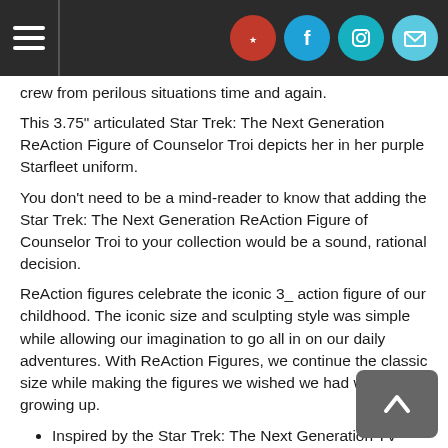Navigation header with hamburger menu and social icons
crew from perilous situations time and again.
This 3.75" articulated Star Trek: The Next Generation ReAction Figure of Counselor Troi depicts her in her purple Starfleet uniform.
You don't need to be a mind-reader to know that adding the Star Trek: The Next Generation ReAction Figure of Counselor Troi to your collection would be a sound, rational decision.
ReAction figures celebrate the iconic 3_ action figure of our childhood. The iconic size and sculpting style was simple while allowing our imagination to go all in on our daily adventures. With ReAction Figures, we continue the classic size while making the figures we wished we had while growing up.
Inspired by the Star Trek: The Next Generation TV Series
Counselor Troi is the Ship's Counselor of the U.S.S. Enterprise
Features purple Starfleet uniform detail
3.75" scale action figure with five points of articulation
Collect the entire line of Star Trek: The Next Generation ReAction figures by Super7!